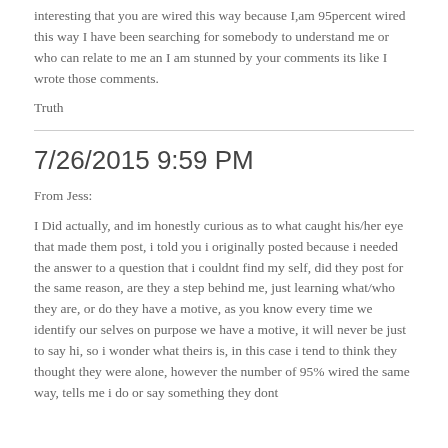interesting that you are wired this way because I,am 95percent wired this way I have been searching for somebody to understand me or who can relate to me an I am stunned by your comments its like I wrote those comments.
Truth
7/26/2015 9:59 PM
From Jess:
I Did actually, and im honestly curious as to what caught his/her eye that made them post, i told you i originally posted because i needed the answer to a question that i couldnt find my self, did they post for the same reason, are they a step behind me, just learning what/who they are, or do they have a motive, as you know every time we identify our selves on purpose we have a motive, it will never be just to say hi, so i wonder what theirs is, in this case i tend to think they thought they were alone, however the number of 95% wired the same way, tells me i do or say something they dont